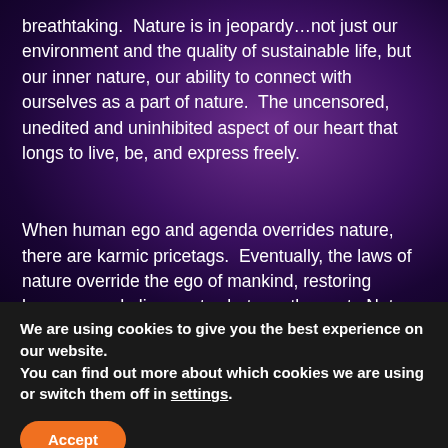breathtaking.  Nature is in jeopardy…not just our environment and the quality of sustainable life, but our inner nature, our ability to connect with ourselves as a part of nature.  The uncensored, unedited and uninhibited aspect of our heart that longs to live, be, and express freely.
When human ego and agenda overrides nature, there are karmic pricetags.  Eventually, the laws of nature override the ego of mankind, restoring harmony and alignment, whatever the cost.  Nature will always correct the
We are using cookies to give you the best experience on our website.
You can find out more about which cookies we are using or switch them off in settings.
Accept